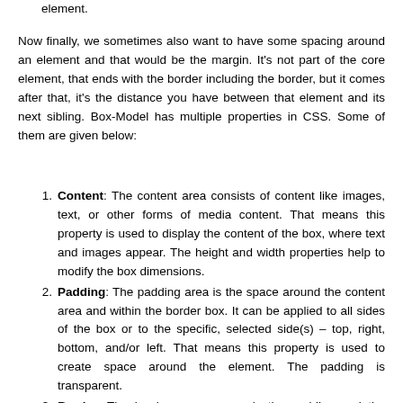element.
Now finally, we sometimes also want to have some spacing around an element and that would be the margin. It's not part of the core element, that ends with the border including the border, but it comes after that, it's the distance you have between that element and its next sibling. Box-Model has multiple properties in CSS. Some of them are given below:
Content: The content area consists of content like images, text, or other forms of media content. That means this property is used to display the content of the box, where text and images appear. The height and width properties help to modify the box dimensions.
Padding: The padding area is the space around the content area and within the border box. It can be applied to all sides of the box or to the specific, selected side(s) – top, right, bottom, and/or left. That means this property is used to create space around the element. The padding is transparent.
Border: The border area surrounds the padding and the content, and can be applied to all the sides of the box or to